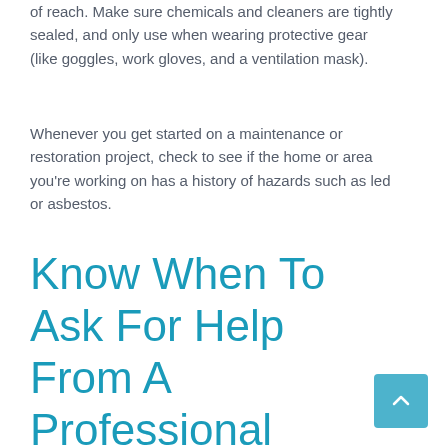of reach. Make sure chemicals and cleaners are tightly sealed, and only use when wearing protective gear (like goggles, work gloves, and a ventilation mask).
Whenever you get started on a maintenance or restoration project, check to see if the home or area you're working on has a history of hazards such as led or asbestos.
Know When To Ask For Help From A Professional